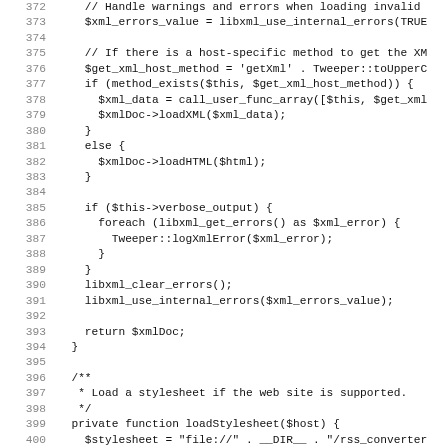[Figure (screenshot): Source code listing in PHP showing lines 372-403, displaying XML loading and stylesheet loading functions with line numbers on the left.]